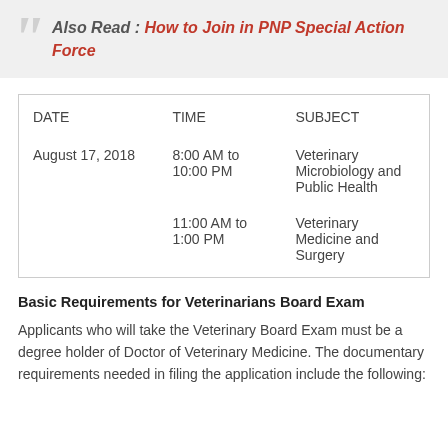Also Read : How to Join in PNP Special Action Force
| DATE | TIME | SUBJECT |
| --- | --- | --- |
| August 17, 2018 | 8:00 AM to 10:00 PM | Veterinary Microbiology and Public Health |
|  | 11:00 AM to 1:00 PM | Veterinary Medicine and Surgery |
Basic Requirements for Veterinarians Board Exam
Applicants who will take the Veterinary Board Exam must be a degree holder of Doctor of Veterinary Medicine. The documentary requirements needed in filing the application include the following: